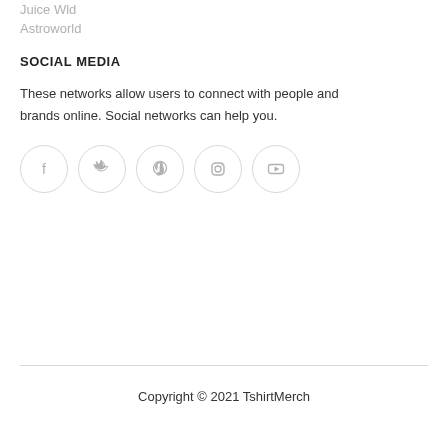Juice Wld
Astroworld
SOCIAL MEDIA
These networks allow users to connect with people and brands online. Social networks can help you.
[Figure (infographic): Five social media icons in circular outlines: Facebook, Twitter, Pinterest, Instagram, YouTube]
Copyright © 2021 TshirtMerch